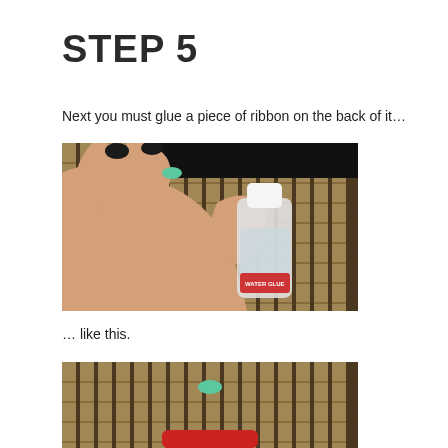STEP 5
Next you must glue a piece of ribbon on the back of it…
[Figure (photo): Hands holding a small bottle of water glue against a bamboo mat background, applying glue to a small decorative piece with black-painted nails visible]
… like this.
[Figure (photo): Close-up of a bamboo mat with a small decorated piece and a red object visible at the bottom, partially cropped]